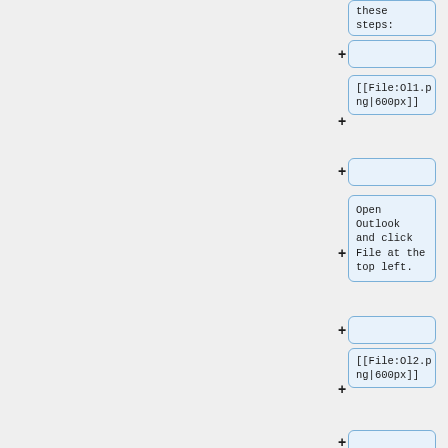these steps:
+
[[File:Ol1.png|600px]]
+
Open Outlook and click File at the top left.
+
[[File:Ol2.png|600px]]
+
Click Account Settings and